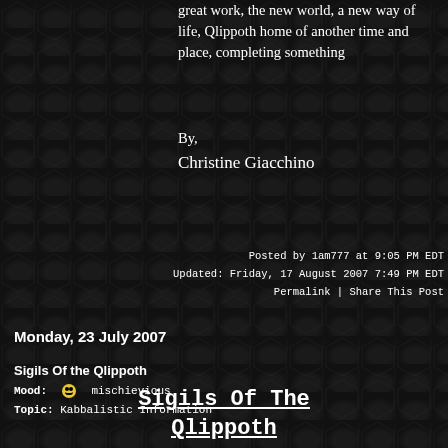great work, the new world, a new way of life, Qlippoth home of another time and place, completing something
By,
Christine Giacchino
Posted by 1am777 at 9:05 PM EDT
Updated: Friday, 17 August 2007 7:49 PM EDT
Permalink | Share This Post
Monday, 23 July 2007
Sigils Of the Qlippoth
Mood: 😏 mischievious
Topic: Kabbalistic Information
Sigils Of The Qlippoth